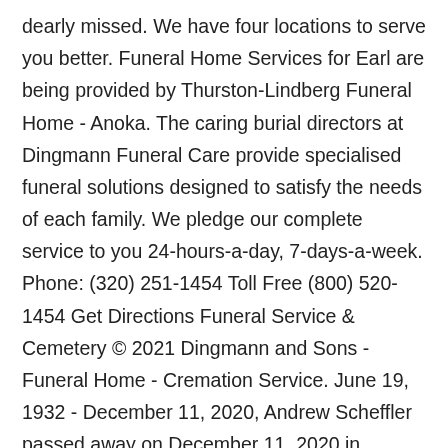dearly missed. We have four locations to serve you better. Funeral Home Services for Earl are being provided by Thurston-Lindberg Funeral Home - Anoka. The caring burial directors at Dingmann Funeral Care provide specialised funeral solutions designed to satisfy the needs of each family. We pledge our complete service to you 24-hours-a-day, 7-days-a-week. Phone: (320) 251-1454 Toll Free (800) 520-1454 Get Directions Funeral Service & Cemetery © 2021 Dingmann and Sons - Funeral Home - Cremation Service. June 19, 1932 - December 11, 2020, Andrew Scheffler passed away on December 11, 2020 in Adrian, Minnesota. Find contact information, view maps, and more. Find contact information, view maps, and more. View upcoming funeral services, obituaries, and funeral flowers for